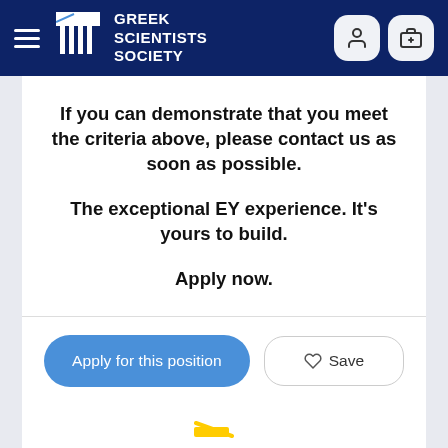Greek Scientists Society
If you can demonstrate that you meet the criteria above, please contact us as soon as possible.
The exceptional EY experience. It’s yours to build.
Apply now.
Apply for this position
Save